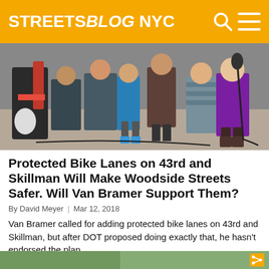STREETSBLOG NYC
[Figure (photo): Outdoor gathering with people standing, a microphone stand visible, taken from a low angle showing legs and lower bodies of a crowd on a sidewalk or plaza.]
Protected Bike Lanes on 43rd and Skillman Will Make Woodside Streets Safer. Will Van Bramer Support Them?
By David Meyer | Mar 12, 2018
Van Bramer called for adding protected bike lanes on 43rd and Skillman, but after DOT proposed doing exactly that, he hasn't endorsed the plan.
[Figure (photo): Partial view of another image at the bottom of the page, partially cropped.]